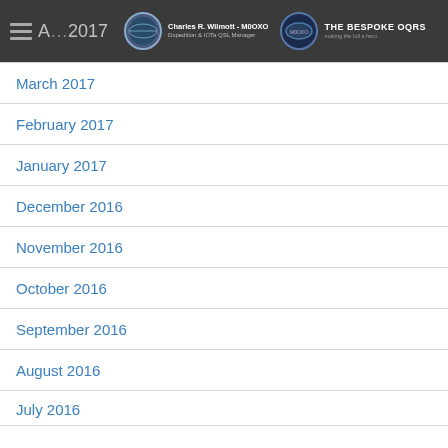Charles R. Wilmott - M0OXO | Dxpedition & IOTa QSL Manager | THE BESPOKE OQRS
March 2017
February 2017
January 2017
December 2016
November 2016
October 2016
September 2016
August 2016
July 2016